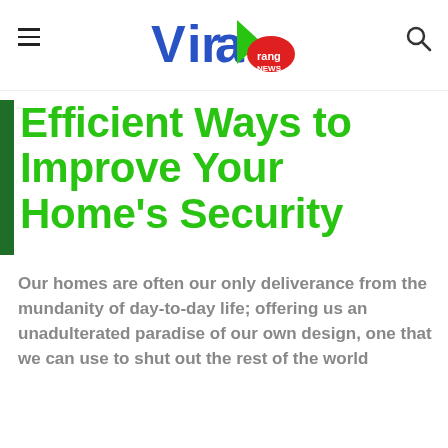ViralRang News
Efficient Ways to Improve Your Home's Security
Our homes are often our only deliverance from the mundanity of day-to-day life; offering us an unadulterated paradise of our own design, one that we can use to shut out the rest of the world